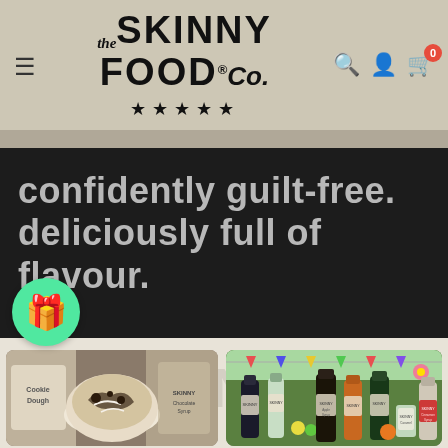[Figure (screenshot): The Skinny Food Co. website header with hamburger menu, logo with five stars, search icon, user icon, and shopping cart with 0 badge]
[Figure (screenshot): Dark hero banner with text 'Confidently Guilt-Free. Deliciously Full of Flavour.' and green gift circle button at bottom left]
[Figure (photo): Cookie dough dessert bowl product photo — left product card]
[Figure (photo): Skinny syrups and sauce bottles collection photo — right product card]